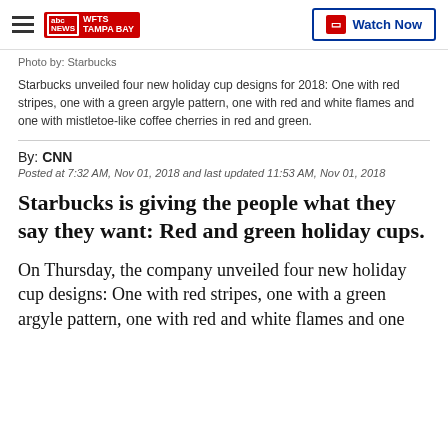WFTS TAMPA BAY | Watch Now
Photo by: Starbucks
Starbucks unveiled four new holiday cup designs for 2018: One with red stripes, one with a green argyle pattern, one with red and white flames and one with mistletoe-like coffee cherries in red and green.
By: CNN
Posted at 7:32 AM, Nov 01, 2018 and last updated 11:53 AM, Nov 01, 2018
Starbucks is giving the people what they say they want: Red and green holiday cups.
On Thursday, the company unveiled four new holiday cup designs: One with red stripes, one with a green argyle pattern, one with red and white flames and one